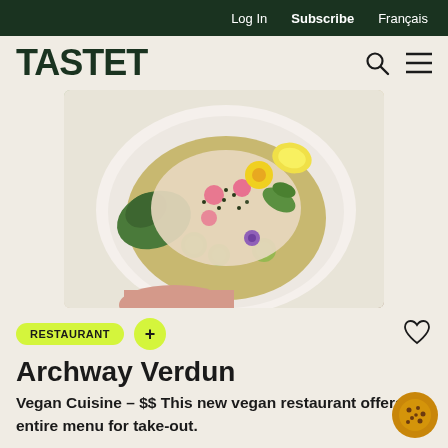Log In   Subscribe   Français
TASTET
[Figure (photo): Overhead photo of a white ceramic bowl with a vegan dish: creamy sauce, cucumber slices, radishes, leafy greens, edible flowers (yellow and purple), microgreens and seeds, on a beige background.]
RESTAURANT +
Archway Verdun
Vegan Cuisine – $$ This new vegan restaurant offers its entire menu for take-out.